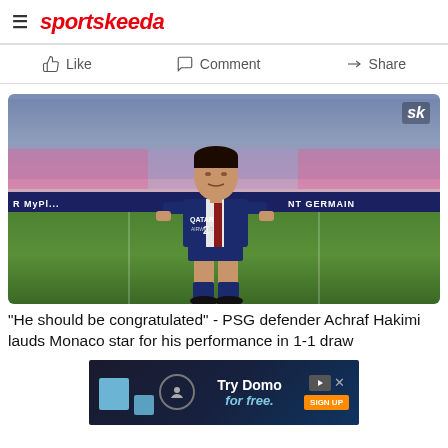sportskeeda
Like   Comment   Share
[Figure (photo): PSG defender Achraf Hakimi wearing number 2 jersey with Qatar Airways sponsor, standing on a football pitch with stadium stands in background]
"He should be congratulated" - PSG defender Achraf Hakimi lauds Monaco star for his performance in 1-1 draw
[Figure (other): Try Domo for free advertisement banner]